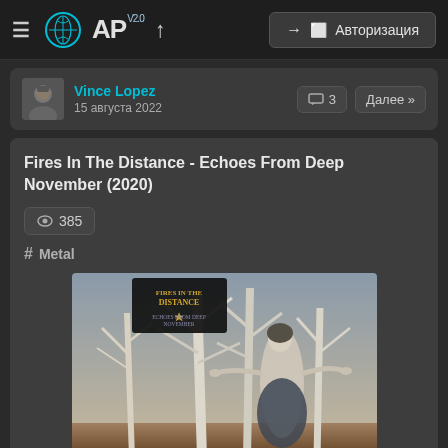AP v2.0 — Авторизация
Vince Lopez
15 августа 2022
Fires In The Distance - Echoes From Deep November (2020)
385
# Metal
[Figure (illustration): Album cover art for Fires In The Distance - Echoes From Deep November. Dark fantasy illustration showing a ghostly pale figure with outstretched arms in a forest of gnarled white trees, wearing a dark draped garment. A black banner with gold text reading the band name appears in the upper left.]